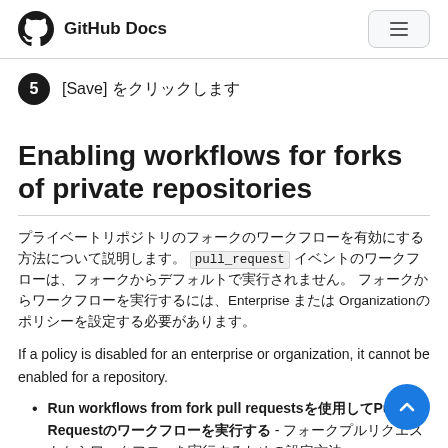GitHub Docs
[Save] をクリックします
Enabling workflows for forks of private repositories
プライベートリポジトリのフォークのワークフローを有効にする方法について説明します。 pull_request イベントのワークフローは、フォークからデフォルトで実行されません。 フォークからワークフローを実行するには、Enterprise または Organizationのポリシーを設定する必要があります。
If a policy is disabled for an enterprise or organization, it cannot be enabled for a repository.
Run workflows from fork pull requestsを使用してPull Requestのワークフローを実行する - フォークプルリクエストからワークフローを実行するための設定方法